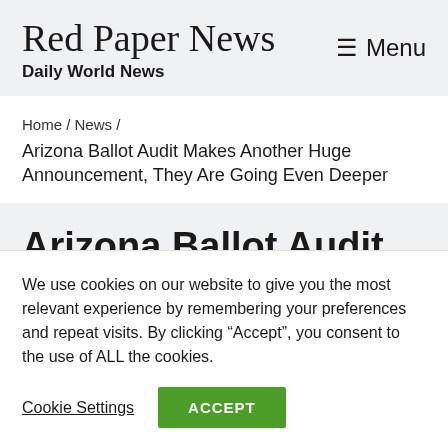Red Paper News — Daily World News — Menu
Home / News / Arizona Ballot Audit Makes Another Huge Announcement, They Are Going Even Deeper
Arizona Ballot Audit Makes
We use cookies on our website to give you the most relevant experience by remembering your preferences and repeat visits. By clicking "Accept", you consent to the use of ALL the cookies.
Cookie Settings  ACCEPT